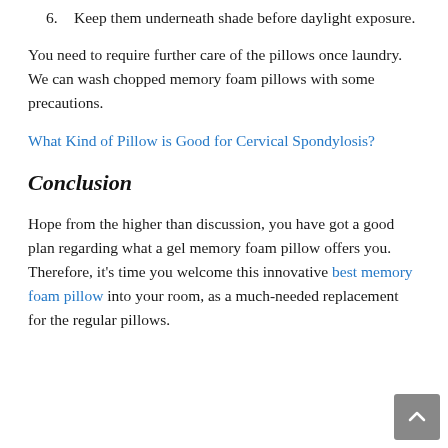6. Keep them underneath shade before daylight exposure.
You need to require further care of the pillows once laundry. We can wash chopped memory foam pillows with some precautions.
What Kind of Pillow is Good for Cervical Spondylosis?
Conclusion
Hope from the higher than discussion, you have got a good plan regarding what a gel memory foam pillow offers you. Therefore, it's time you welcome this innovative best memory foam pillow into your room, as a much-needed replacement for the regular pillows.